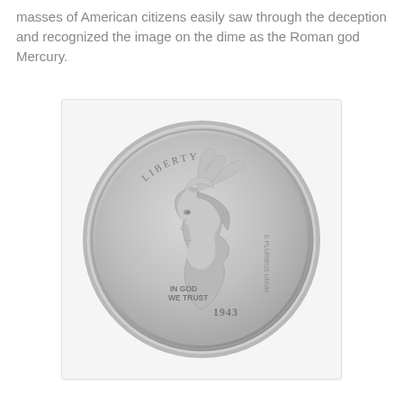masses of American citizens easily saw through the deception and recognized the image on the dime as the Roman god Mercury.
[Figure (photo): A 1943 Mercury dime (silver coin) showing the obverse with a winged Liberty head profile facing left, inscriptions LIBERTY, IN GOD WE TRUST, and the date 1943. The coin is displayed against a light gray background.]